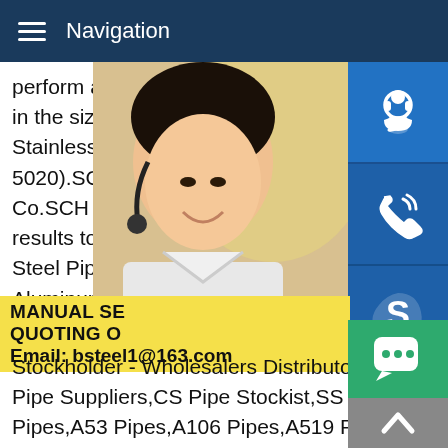Navigation
perform an action.ANS Steel is a stocking in the sizes listed below.All pipe may also Stainless Steel (please call ahead for avai 5020).SCH 40 Bare Black Standard Steel Co.SCH 40 Bare Black Standard Steel Pip results to perform an action.ANS Steel is a Steel Pipe in the sizes listed below.All pipe Aluminum Stainless Steel (please call ahe 831-5020).Pipes SCH 10 chart,dimensions SteelSchedule 10 Pipe Suppliers - Exporte Stockholder - Wholesalers Distributors Mumbai - India Schedule 10 Pipe Suppliers,CS Pipe Stockist,SS Pipe Tube Suppliers,A153 Pipes,A53 Pipes,A106 Pipes,A519 Pipes,A213 Pipes Tubes,B Pipe Manufacturers Company,Seamless Pipe manufacturing,Welded Pipe Stockist Worldwide
[Figure (photo): Woman with headset, customer service representative]
MANUAL SE QUOTING O Email: bsteel1@163.com